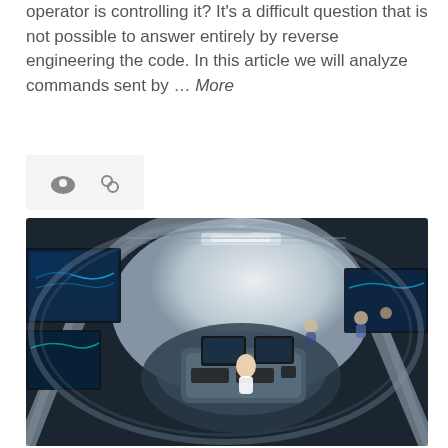operator is controlling it? It's a difficult question that is not possible to answer entirely by reverse engineering the code. In this article we will analyze commands sent by … More
[Figure (photo): Fish-eye lens photo of a control room or operation center, showing curved walls, multiple computer screens with maps, operators working at desks, with a circular architectural structure visible from above.]